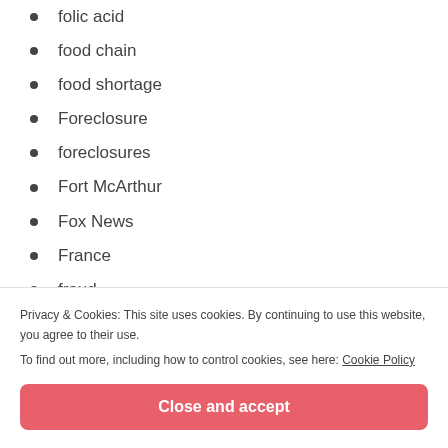folic acid
food chain
food shortage
Foreclosure
foreclosures
Fort McArthur
Fox News
France
fraud
fraud
Privacy & Cookies: This site uses cookies. By continuing to use this website, you agree to their use.
To find out more, including how to control cookies, see here: Cookie Policy
fur seals